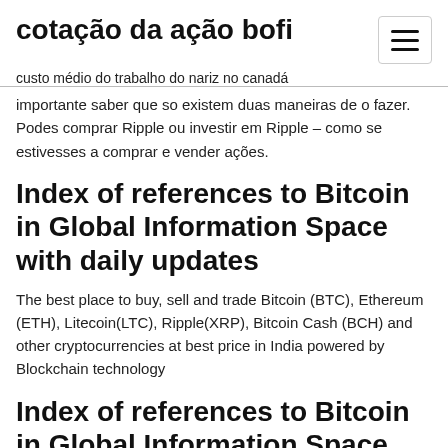cotação da ação bofi
custo médio do trabalho do nariz no canadá
importante saber que so existem duas maneiras de o fazer. Podes comprar Ripple ou investir em Ripple – como se estivesses a comprar e vender ações.
Index of references to Bitcoin in Global Information Space with daily updates
The best place to buy, sell and trade Bitcoin (BTC), Ethereum (ETH), Litecoin(LTC), Ripple(XRP), Bitcoin Cash (BCH) and other cryptocurrencies at best price in India powered by Blockchain technology
Index of references to Bitcoin in Global Information Space with daily updates